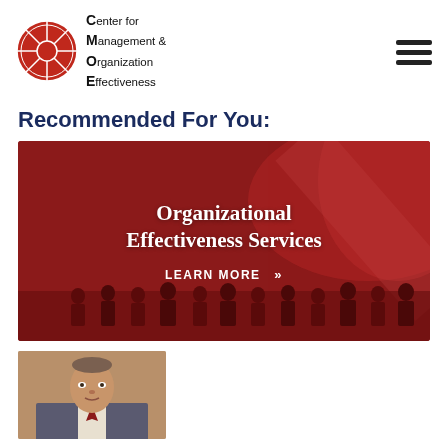Center for Management & Organization Effectiveness
Recommended For You:
[Figure (illustration): Red banner with 'Organizational Effectiveness Services' title and 'LEARN MORE »' link, with silhouetted group of people at the bottom]
[Figure (photo): Headshot of a middle-aged man in a suit, partially visible at the bottom of the page]